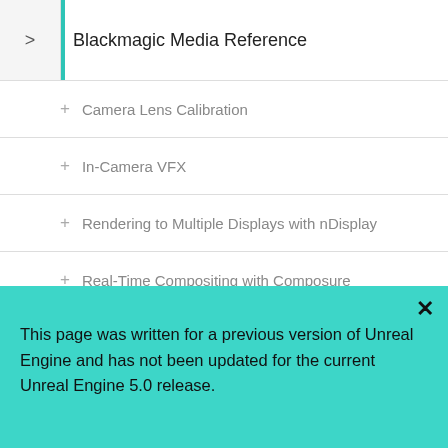Blackmagic Media Reference
+ Camera Lens Calibration
+ In-Camera VFX
+ Rendering to Multiple Displays with nDisplay
+ Real-Time Compositing with Composure
+ Texture Share
+ Mixed Reality Capture
+ Communicating with Media Components
This page was written for a previous version of Unreal Engine and has not been updated for the current Unreal Engine 5.0 release.